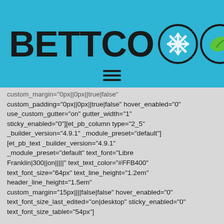[Figure (logo): BETTCO logo with snowflake, leaf, and lightning bolt icons in circles on a blue background with hamburger menu icon]
custom_margin="0px||0px||true|false" custom_padding="0px||0px||true|false" hover_enabled="0" use_custom_gutter="on" gutter_width="1" sticky_enabled="0"][et_pb_column type="2_5" _builder_version="4.9.1" _module_preset="default"][et_pb_text _builder_version="4.9.1" _module_preset="default" text_font="Libre Franklin|300||on|||||" text_text_color="#FFB400" text_font_size="64px" text_line_height="1.2em" header_line_height="1.5em" custom_margin="15px||||false|false" hover_enabled="0" text_font_size_last_edited="on|desktop" sticky_enabled="0" text_font_size_tablet="54px"]